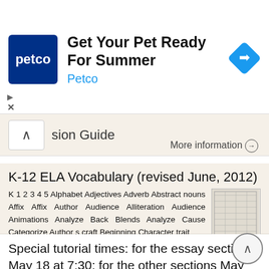[Figure (other): Petco advertisement banner with logo, headline 'Get Your Pet Ready For Summer', subtext 'Petco', and a blue navigation icon]
sion Guide
More information →
K-12 ELA Vocabulary (revised June, 2012)
K 1 2 3 4 5 Alphabet Adjectives Adverb Abstract nouns Affix Affix Author Audience Alliteration Audience Animations Analyze Back Blends Analyze Cause Categorize Author s craft Beginning Character trait
More information →
Special tutorial times: for the essay section May 18 at 7:30; for the other sections May